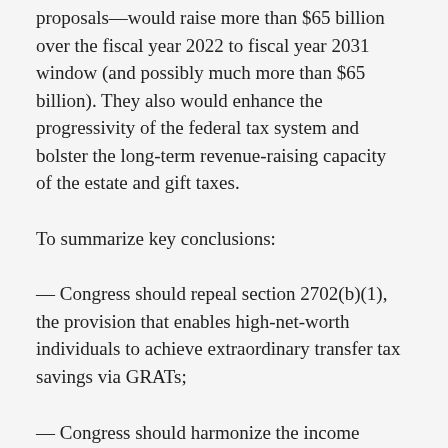proposals—would raise more than $65 billion over the fiscal year 2022 to fiscal year 2031 window (and possibly much more than $65 billion). They also would enhance the progressivity of the federal tax system and bolster the long-term revenue-raising capacity of the estate and gift taxes.
To summarize key conclusions:
— Congress should repeal section 2702(b)(1), the provision that enables high-net-worth individuals to achieve extraordinary transfer tax savings via GRATs;
— Congress should harmonize the income